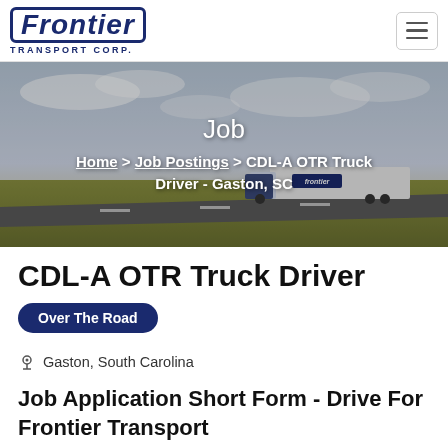Frontier Transport Corp.
[Figure (photo): Hero banner image showing a Frontier Transport semi-truck driving on a highway under a cloudy sky, with text overlay: Job > Home > Job Postings > CDL-A OTR Truck Driver - Gaston, SC]
CDL-A OTR Truck Driver
Over The Road
Gaston, South Carolina
Job Application Short Form - Drive For Frontier Transport